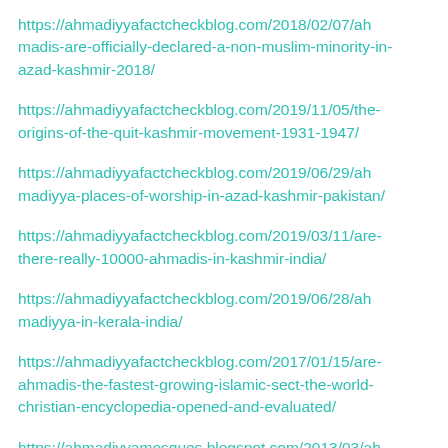https://ahmadiyyafactcheckblog.com/2018/02/07/ahmadis-are-officially-declared-a-non-muslim-minority-in-azad-kashmir-2018/
https://ahmadiyyafactcheckblog.com/2019/11/05/the-origins-of-the-quit-kashmir-movement-1931-1947/
https://ahmadiyyafactcheckblog.com/2019/06/29/ahmadiyya-places-of-worship-in-azad-kashmir-pakistan/
https://ahmadiyyafactcheckblog.com/2019/03/11/are-there-really-10000-ahmadis-in-kashmir-india/
https://ahmadiyyafactcheckblog.com/2019/06/28/ahmadiyya-in-kerala-india/
https://ahmadiyyafactcheckblog.com/2017/01/15/are-ahmadis-the-fastest-growing-islamic-sect-the-world-christian-encyclopedia-opened-and-evaluated/
https://ahmadiyyamosques.blogspot.com/2013/03/ahmadiyya-mosque-mirpuri-jammu-and.html